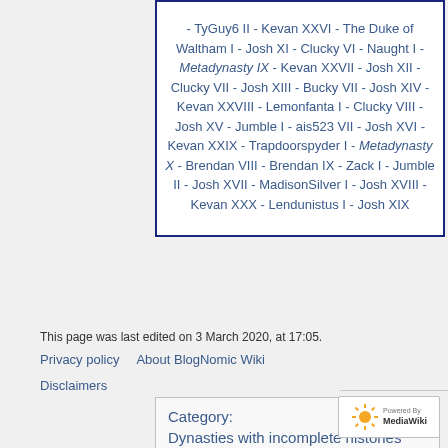- TyGuy6 II - Kevan XXVI - The Duke of Waltham I - Josh XI - Clucky VI - Naught I - Metadynasty IX - Kevan XXVII - Josh XII - Clucky VII - Josh XIII - Bucky VII - Josh XIV - Kevan XXVIII - Lemonfanta I - Clucky VIII - Josh XV - Jumble I - ais523 VII - Josh XVI - Kevan XXIX - Trapdoorspyder I - Metadynasty X - Brendan VIII - Brendan IX - Zack I - Jumble II - Josh XVII - MadisonSilver I - Josh XVIII - Kevan XXX - Lendunistus I - Josh XIX
Category: Dynasties with incomplete histories
This page was last edited on 3 March 2020, at 17:05.
Privacy policy   About BlogNomic Wiki
Disclaimers